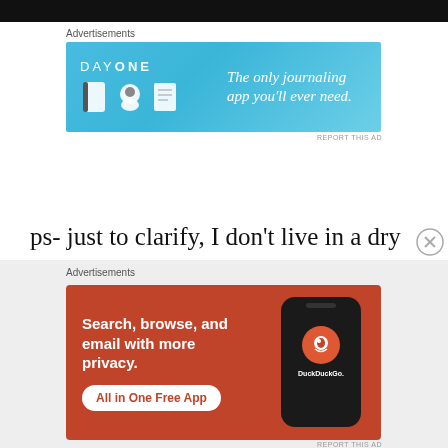[Figure (other): Black navigation bar at top of webpage]
Advertisements
[Figure (other): Day One journaling app advertisement on light blue background: 'DAY ONE – The only journaling app you'll ever need.']
ps- just to clarify, I don't live in a dry county – that would be intolerable.
Advertisements
[Figure (other): DuckDuckGo advertisement on red/orange background: 'Search, browse, and email with more privacy. All in One Free App' with phone mockup showing DuckDuckGo logo]